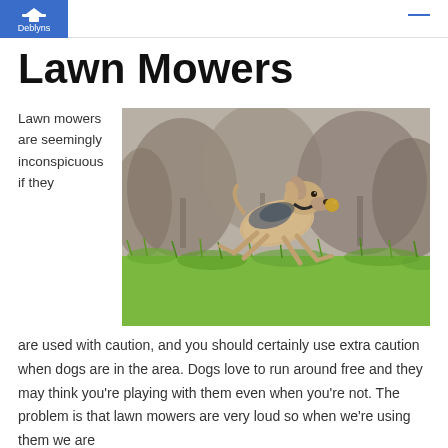Deblyns
Lawn Mowers
[Figure (photo): A wire-haired terrier dog running through a grassy field with trees in the blurred background]
Lawn mowers are seemingly inconspicuous if they are used with caution, and you should certainly use extra caution when dogs are in the area. Dogs love to run around free and they may think you're playing with them even when you're not. The problem is that lawn mowers are very loud so when we're using them we are